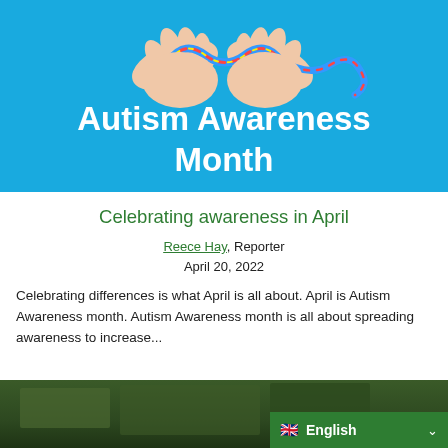[Figure (photo): Photo of hands holding a colorful puzzle-piece ribbon on a blue background, with bold white text overlay reading 'Autism Awareness Month']
Celebrating awareness in April
Reece Hay, Reporter
April 20, 2022
Celebrating differences is what April is all about. April is Autism Awareness month. Autism Awareness month is all about spreading awareness to increase...
[Figure (photo): Photo of a baseball game scene with players and spectators, partially visible at bottom of page. A green language selector bar reading 'English' with a British flag emoji is overlaid at bottom right.]